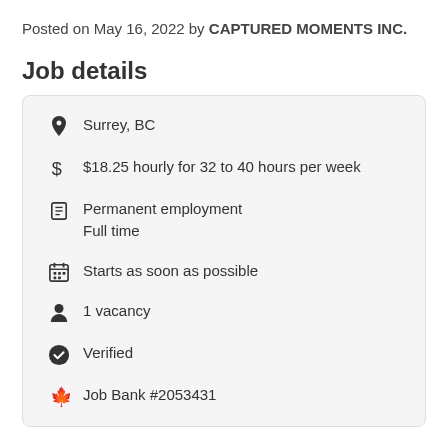Posted on May 16, 2022 by CAPTURED MOMENTS INC.
Job details
Surrey, BC
$18.25 hourly for 32 to 40 hours per week
Permanent employment Full time
Starts as soon as possible
1 vacancy
Verified
Job Bank #2053431
Overview
Languages